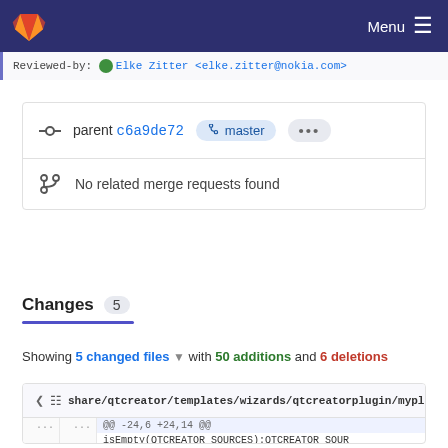GitLab — Menu
Reviewed-by: Elke Zitter <elke.zitter@nokia.com>
parent c6a9de72  master  ...
No related merge requests found
Changes 5
Showing 5 changed files with 50 additions and 6 deletions
share/qtcreator/templates/wizards/qtcreatorplugin/myplugin.pro
@@ -24,6 +24,14 @@
isEmpty(QTCREATOR_SOURCES):QTCREATOR_SOUR
24  24  IDE_BUILD_TREE = $$(QTC_BUILD)